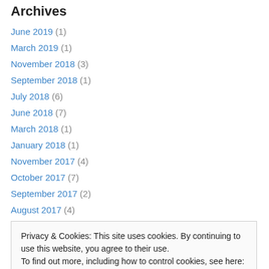Archives
June 2019 (1)
March 2019 (1)
November 2018 (3)
September 2018 (1)
July 2018 (6)
June 2018 (7)
March 2018 (1)
January 2018 (1)
November 2017 (4)
October 2017 (7)
September 2017 (2)
August 2017 (4)
Privacy & Cookies: This site uses cookies. By continuing to use this website, you agree to their use. To find out more, including how to control cookies, see here: Cookie Policy
January 2017 (14)